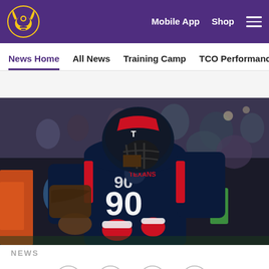Minnesota Vikings website header with logo, Mobile App, Shop navigation links and hamburger menu
News Home  All News  Training Camp  TCO Performance Center
[Figure (photo): NFL player wearing Houston Texans jersey number 90 in dark navy uniform with red accents and red gloves, celebrating on the field with crowd in background]
NEWS
[Figure (infographic): Social sharing icons: Facebook, Twitter, Email, and link/chain icon arranged in a row]